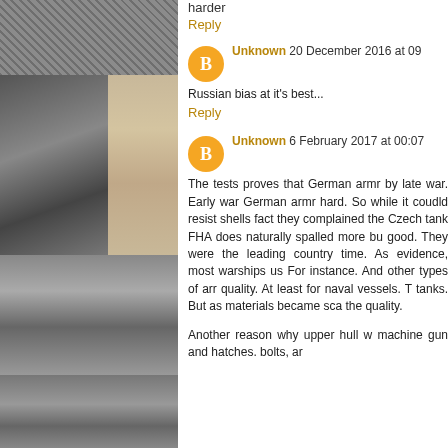[Figure (photo): Collage of black and white WWII-era photographs showing soldiers and tanks, alongside a historical map]
harder
Reply
Unknown 20 December 2016 at 09
Russian bias at it's best...
Reply
Unknown 6 February 2017 at 00:07
The tests proves that German armr by late war. Early war German armr hard. So while it coudld resist shells fact they complained the Czech tank FHA does naturally spalled more bu good. They were the leading country time. As evidence, most warships us For instance. And other types of arr quality. At least for naval vessels. T tanks. But as materials became sca the quality.
Another reason why upper hull w machine gun and hatches. bolts, ar